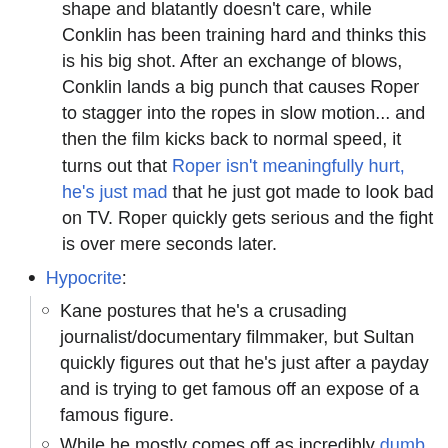shape and blatantly doesn't care, while Conklin has been training hard and thinks this is his big shot. After an exchange of blows, Conklin lands a big punch that causes Roper to stagger into the ropes in slow motion... and then the film kicks back to normal speed, it turns out that Roper isn't meaningfully hurt, he's just mad that he just got made to look bad on TV. Roper quickly gets serious and the fight is over mere seconds later.
Hypocrite:
Kane postures that he's a crusading journalist/documentary filmmaker, but Sultan quickly figures out that he's just after a payday and is trying to get famous off an expose of a famous figure.
While he mostly comes off as incredibly dumb but goodhearted, the film frequently shows that Conklin is something of a poser instead of the goody two shoes he wants to be. We're introduced to him singing about how he doesn't need to feed his ego on stage in front of fans that Conklin gladly shows off for. Backstage,